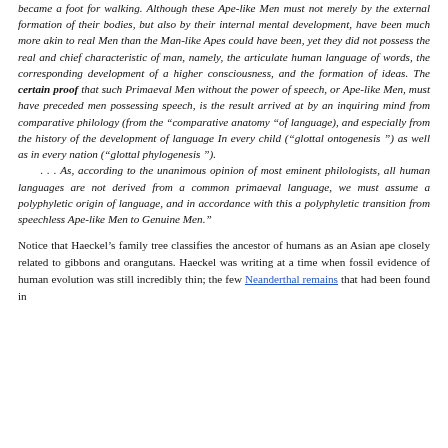became a foot for walking. Although these Ape-like Men must not merely by the external formation of their bodies, but also by their internal mental development, have been much more akin to real Men than the Man-like Apes could have been, yet they did not possess the real and chief characteristic of man, namely, the articulate human language of words, the corresponding development of a higher consciousness, and the formation of ideas. The certain proof that such Primaeval Men without the power of speech, or Ape-like Men, must have preceded men possessing speech, is the result arrived at by an inquiring mind from comparative philology (from the "comparative anatomy "of language), and especially from the history of the development of language In every child ("glottal ontogenesis ") as well as in every nation ("glottal phylogenesis ").
    . . . As, according to the unanimous opinion of most eminent philologists, all human languages are not derived from a common primaeval language, we must assume a polyphyletic origin of language, and in accordance with this a polyphyletic transition from speechless Ape-like Men to Genuine Men."
Notice that Haeckel's family tree classifies the ancestor of humans as an Asian ape closely related to gibbons and orangutans. Haeckel was writing at a time when fossil evidence of human evolution was still incredibly thin; the few Neanderthal remains that had been found in